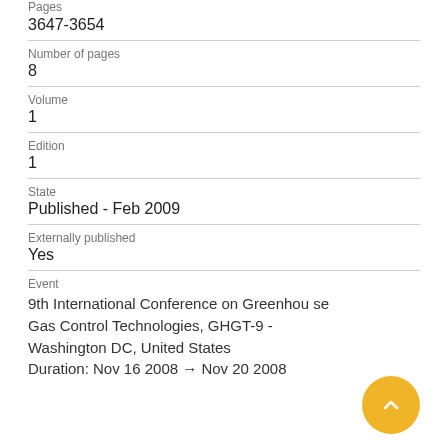Pages
3647-3654
Number of pages
8
Volume
1
Edition
1
State
Published - Feb 2009
Externally published
Yes
Event
9th International Conference on Greenhouse Gas Control Technologies, GHGT-9 - Washington DC, United States
Duration: Nov 16 2008 → Nov 20 2008